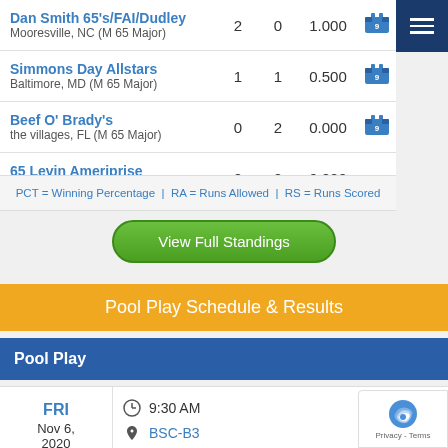| Team | W | L | PCT |  |
| --- | --- | --- | --- | --- |
| Dan Smith 65's/FAI/Dudley
Mooresville, NC (M 65 Major) | 2 | 0 | 1.000 | shirt |
| Simmons Day Allstars
Baltimore, MD (M 65 Major) | 1 | 1 | 0.500 | shirt |
| Beef O' Brady's
the villages, FL (M 65 Major) | 0 | 2 | 0.000 | shirt |
| 65 Levin Ameriprise
Hillsboro Beach FL (M 65 Major) | 0 | 2 | 0.000 |  |
PCT = Winning Percentage  |  RA = Runs Allowed  |  RS = Runs Scored
View Full Standings
Pool Play Schedule & Results
Pool Play
| Day | Time/Location |
| --- | --- |
| FRI
Nov 6, 2020 | 9:30 AM
BSC-B3 |